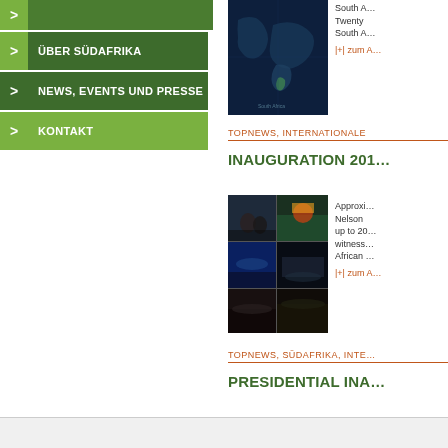ÜBER SÜDAFRIKA
NEWS, EVENTS UND PRESSE
KONTAKT
[Figure (map): Dark blue world map highlighting South Africa region]
South A… Twenty… South A…
|+| zum A…
TOPNEWS, INTERNATIONALE
INAUGURATION 201…
[Figure (photo): Photo collage of inauguration ceremony showing multiple scenes]
Approxi… Nelson … up to 20… witness… African …
|+| zum A…
TOPNEWS, SÜDAFRIKA, INTE…
PRESIDENTIAL INA…